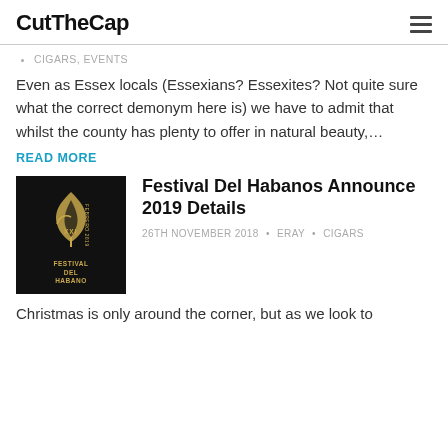CutTheCap
CIGARS, EVENTS
Even as Essex locals (Essexians? Essexites? Not quite sure what the correct demonym here is) we have to admit that whilst the county has plenty to offer in natural beauty,…
READ MORE
[Figure (photo): Festival Del Habano XXI logo on black background with golden leaf/flame motif and text FESTIVAL HABANO]
Festival Del Habanos Announce 2019 Details
26TH NOVEMBER 2018 • ERAY • CIGARS
Christmas is only around the corner, but as we look to